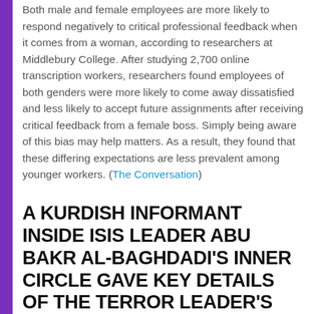Both male and female employees are more likely to respond negatively to critical professional feedback when it comes from a woman, according to researchers at Middlebury College. After studying 2,700 online transcription workers, researchers found employees of both genders were more likely to come away dissatisfied and less likely to accept future assignments after receiving critical feedback from a female boss. Simply being aware of this bias may help matters. As a result, they found that these differing expectations are less prevalent among younger workers. (The Conversation)
A KURDISH INFORMANT INSIDE ISIS LEADER ABU BAKR AL-BAGHDADI'S INNER CIRCLE GAVE KEY DETAILS OF THE TERROR LEADER'S HIDEOUT AND EVEN PROVED HE KNEW WHERE BAGHDADI WAS LOCATED BY